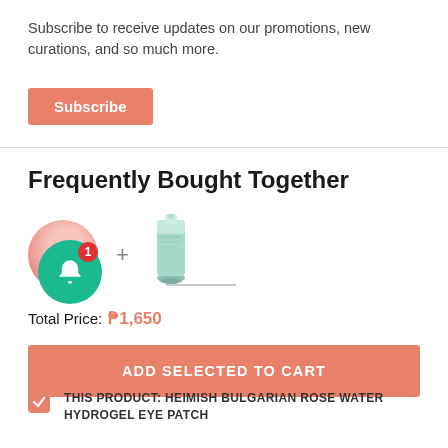Subscribe to receive updates on our promotions, new curations, and so much more.
Subscribe
Frequently Bought Together
[Figure (photo): Two product images side by side: a pink circular hydrogel eye patch product on the left, a plus sign in the middle, and a green/teal tube of product on the right. A green notification bell icon with a red badge showing '1' overlays the bottom-left of the product images.]
Total Price: ₱1,650
ADD SELECTED TO CART
THIS PRODUCT: HEIMISH BULGARIAN ROSE WATER HYDROGEL EYE PATCH